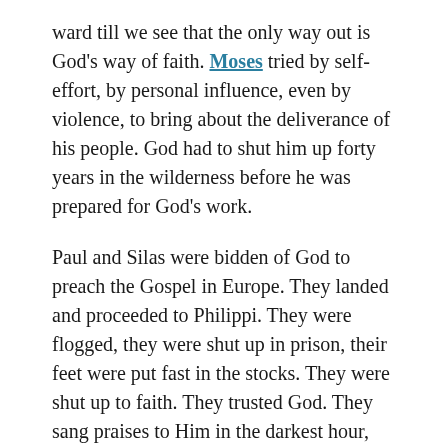ward till we see that the only way out is God's way of faith. Moses tried by self-effort, by personal influence, even by violence, to bring about the deliverance of his people. God had to shut him up forty years in the wilderness before he was prepared for God's work.
Paul and Silas were bidden of God to preach the Gospel in Europe. They landed and proceeded to Philippi. They were flogged, they were shut up in prison, their feet were put fast in the stocks. They were shut up to faith. They trusted God. They sang praises to Him in the darkest hour, and God wrought deliverance and salvation.
John was banished to the Isle of Patmos. He was shut up to faith. Had he not been so shut up, he would never have seen such glorious visions of God.
Dear reader, are you in some great trouble? Have you had some great disappointment, have you met some sorrow